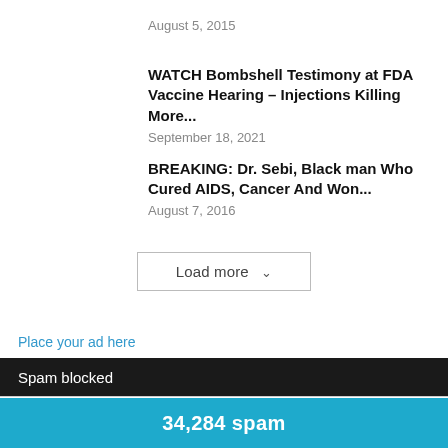August 5, 2015
WATCH Bombshell Testimony at FDA Vaccine Hearing – Injections Killing More...
September 18, 2021
BREAKING: Dr. Sebi, Black man Who Cured AIDS, Cancer And Won...
August 7, 2016
Load more
Place your ad here
Loading...
Spam blocked
34,284 spam